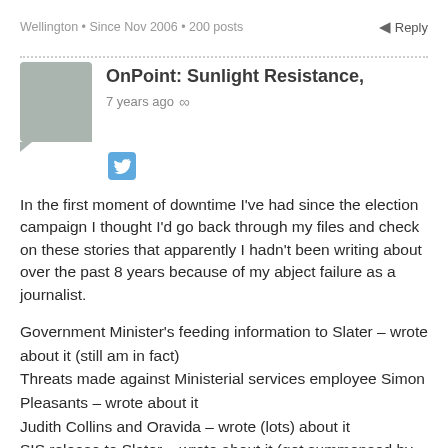Wellington • Since Nov 2006 • 200 posts
Reply
OnPoint: Sunlight Resistance,
7 years ago ∞
In the first moment of downtime I've had since the election campaign I thought I'd go back through my files and check on these stories that apparently I hadn't been writing about over the past 8 years because of my abject failure as a journalist.
Government Minister's feeding information to Slater – wrote about it (still am in fact)
Threats made against Ministerial services employee Simon Pleasants – wrote about it
Judith Collins and Oravida – wrote (lots) about it
SIS release to Slater – wrote about it (got summonsed by the IGIS because of it)
Lusk's candidates college – wrote about it
Who was told what and when about the Donghua Liu dump – wrote about it